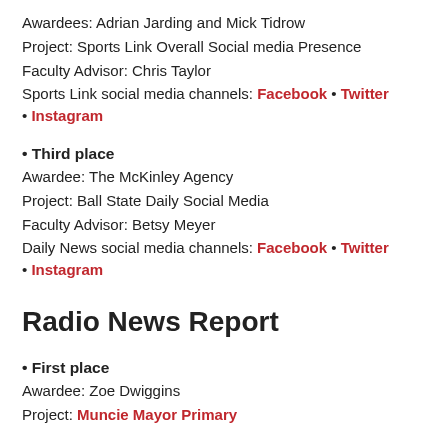Awardees: Adrian Jarding and Mick Tidrow
Project: Sports Link Overall Social media Presence
Faculty Advisor: Chris Taylor
Sports Link social media channels: Facebook • Twitter • Instagram
• Third place
Awardee: The McKinley Agency
Project: Ball State Daily Social Media
Faculty Advisor: Betsy Meyer
Daily News social media channels: Facebook • Twitter • Instagram
Radio News Report
• First place
Awardee: Zoe Dwiggins
Project: Muncie Mayor Primary